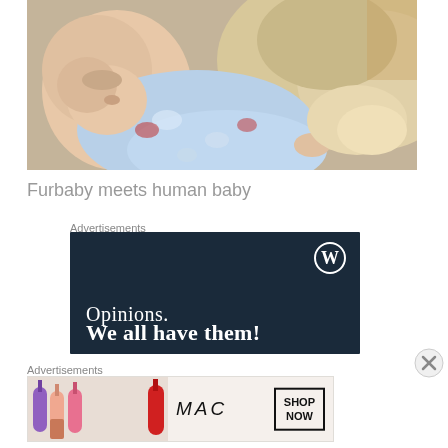[Figure (photo): Close-up photo of a sleeping newborn baby in blue patterned onesie with a furry dog (golden retriever) beside them]
Furbaby meets human baby
Advertisements
[Figure (screenshot): WordPress advertisement with dark navy background showing WordPress logo (W in circle), text 'Opinions. We all have them!']
Advertisements
[Figure (screenshot): MAC Cosmetics advertisement showing colorful lipsticks, MAC logo in italic text, and a 'SHOP NOW' button box]